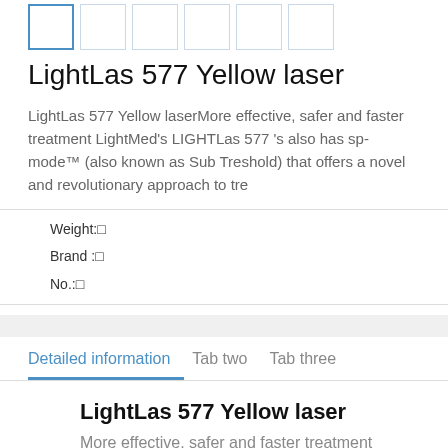[Figure (other): Row of product thumbnail images, first one active with blue border]
LightLas 577 Yellow laser
LightLas 577 Yellow laserMore effective, safer and faster treatment LightMed's LIGHTLas 577 's also has sp-mode™ (also known as Sub Treshold) that offers a novel and revolutionary approach to tre
Weight:□
Brand :□
No.:□
Detailed information   Tab two   Tab three
LightLas 577 Yellow laser
More effective, safer and faster treatment